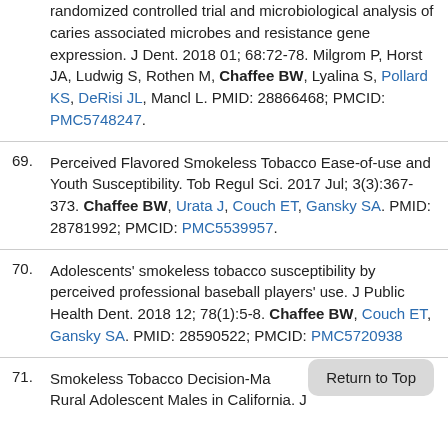randomized controlled trial and microbiological analysis of caries associated microbes and resistance gene expression. J Dent. 2018 01; 68:72-78. Milgrom P, Horst JA, Ludwig S, Rothen M, Chaffee BW, Lyalina S, Pollard KS, DeRisi JL, Mancl L. PMID: 28866468; PMCID: PMC5748247.
69. Perceived Flavored Smokeless Tobacco Ease-of-use and Youth Susceptibility. Tob Regul Sci. 2017 Jul; 3(3):367-373. Chaffee BW, Urata J, Couch ET, Gansky SA. PMID: 28781992; PMCID: PMC5539957.
70. Adolescents' smokeless tobacco susceptibility by perceived professional baseball players' use. J Public Health Dent. 2018 12; 78(1):5-8. Chaffee BW, Couch ET, Gansky SA. PMID: 28590522; PMCID: PMC5720938
71. Smokeless Tobacco Decision-Ma... Rural Adolescent Males in California. J